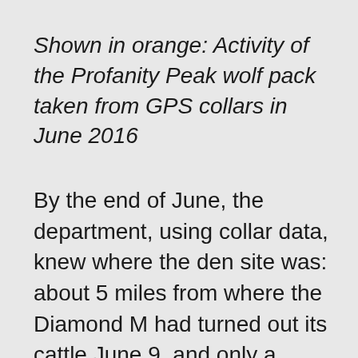Shown in orange: Activity of the Profanity Peak wolf pack taken from GPS collars in June 2016
By the end of June, the department, using collar data, knew where the den site was: about 5 miles from where the Diamond M had turned out its cattle June 9, and only a quarter-mile from the salt lick placed